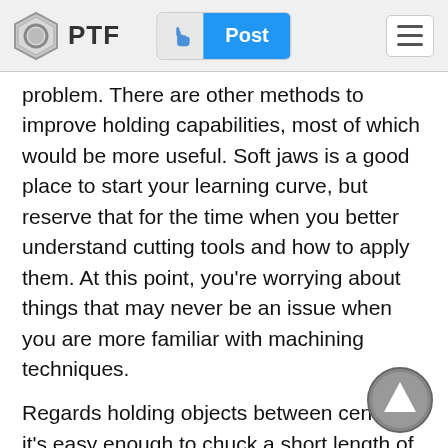PTF | Post
problem. There are other methods to improve holding capabilities, most of which would be more useful. Soft jaws is a good place to start your learning curve, but reserve that for the time when you better understand cutting tools and how to apply them. At this point, you're worrying about things that may never be an issue when you are more familiar with machining techniques.
Regards holding objects between centers, it's easy enough to chuck a short length of stock and turn a degree center if you'd like to avoid buying a headstock center, which you'll find gets very little (if any) use when you get better at machining. Working between centers is precise, but a complete PITA as